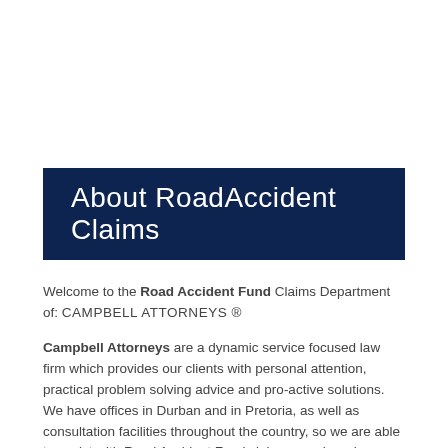About RoadAccident Claims
Welcome to the Road Accident Fund Claims Department of: CAMPBELL ATTORNEYS ®
Campbell Attorneys are a dynamic service focused law firm which provides our clients with personal attention, practical problem solving advice and pro-active solutions. We have offices in Durban and in Pretoria, as well as consultation facilities throughout the country, so we are able to assist with Road Accident Fund claims anywhere in